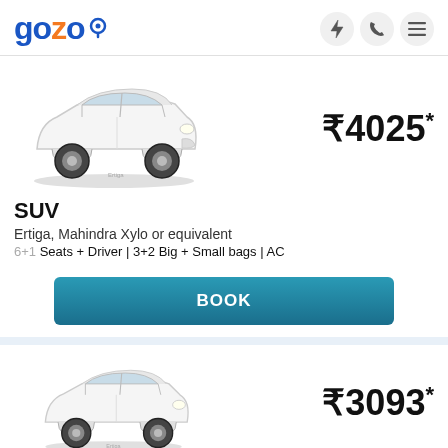gozo
[Figure (photo): White SUV car (Maruti Ertiga) front-side view]
₹4025*
SUV
Ertiga, Mahindra Xylo or equivalent
6+1 Seats + Driver | 3+2 Big + Small bags | AC
BOOK
[Figure (photo): White SUV car (Maruti Ertiga) front-side view - second listing]
₹3093*